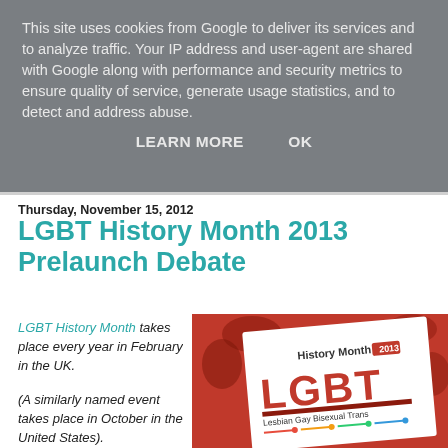This site uses cookies from Google to deliver its services and to analyze traffic. Your IP address and user-agent are shared with Google along with performance and security metrics to ensure quality of service, generate usage statistics, and to detect and address abuse.
LEARN MORE   OK
Thursday, November 15, 2012
LGBT History Month 2013 Prelaunch Debate
LGBT History Month takes place every year in February in the UK.

(A similarly named event takes place in October in the United States).
[Figure (photo): LGBT History Month 2013 promotional card/flyer on a red background, showing 'History Month 2013' text, large 'LGBT' letters, and 'Lesbian Gay Bisexual Trans' tagline with colorful circuit-board style lines.]